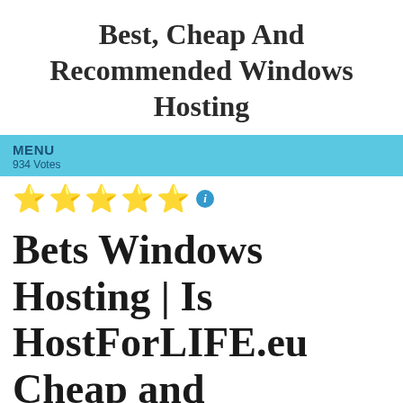Best, Cheap And Recommended Windows Hosting
MENU
934 Votes
[Figure (other): Five yellow star rating icons followed by a blue info icon]
Bets Windows Hosting | Is HostForLIFE.eu Cheap and Recommended for Hosting SharePoint